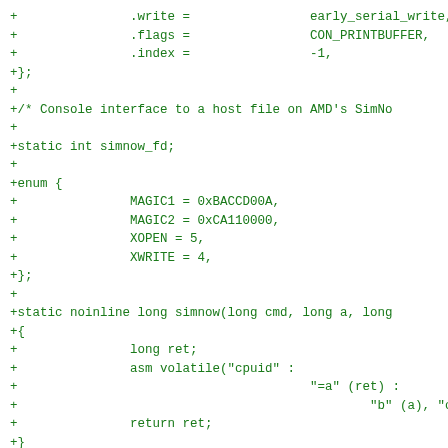+		.write =		early_serial_write,
+		.flags =		CON_PRINTBUFFER,
+		.index =		-1,
+};
+
+/* Console interface to a host file on AMD's SimNo
+
+static int simnow_fd;
+
+enum {
+		MAGIC1 = 0xBACCD00A,
+		MAGIC2 = 0xCA110000,
+		XOPEN = 5,
+		XWRITE = 4,
+};
+
+static noinline long simnow(long cmd, long a, long
+{
+		long ret;
+		asm volatile("cpuid" :
+					"=a" (ret) :
+						"b" (a), "c" (b), "d" (c), "0"
+		return ret;
+}
+
+static void __init simnow_init(char *str)
+{
+		char *fn = "klog";
+		if (*str == '=')
+				fn = ++str;